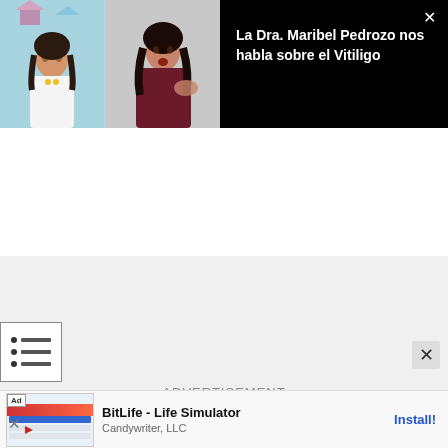[Figure (screenshot): Video player showing two women in a video call format with teal/blue background, with 'VP' badge top right of thumbnail. Black panel on right shows video title.]
La Dra. Maribel Pedrozo nos habla sobre el Vitiligo
[Figure (screenshot): Main page content area showing a light gray advertisement placeholder with hamburger menu icon on left side and 'ADVERTISEMENT' text in center. Close X button bottom right.]
ADVERTISEMENT
[Figure (screenshot): Bottom ad banner for BitLife - Life Simulator by Candywriter, LLC with Ad label, app screenshot thumbnail, app name, company, and Install button.]
BitLife - Life Simulator
Candywriter, LLC
Install!